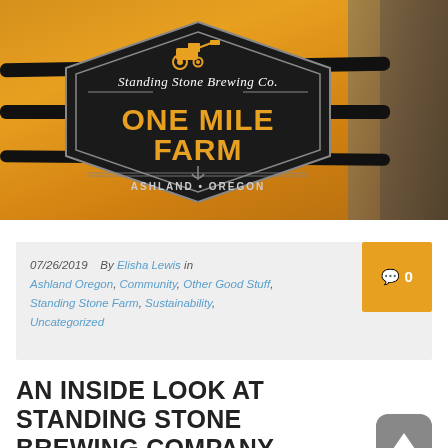[Figure (photo): Orange banner/sign reading 'Standing Stone Brewing Co. ONE MILE FARM ASHLAND • OREGON' with a tractor logo, hanging on a metal fence/railing against a gravel background.]
07/26/2019    By Elisha Lewis in Ashland Oregon, Community, Other Good Stuff, Standing Stone Farm, Sustainability, Uncategorized
AN INSIDE LOOK AT STANDING STONE BREWING COMPANY